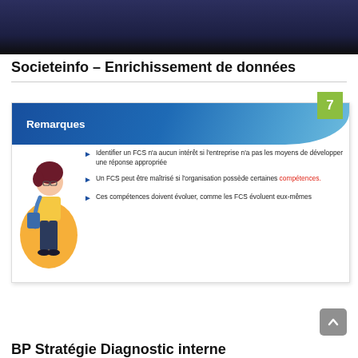[Figure (photo): Dark blue/navy background image header area]
Societeinfo – Enrichissement de données
[Figure (infographic): Slide 7 titled 'Remarques' with a blue gradient header banner, green number badge showing 7, a cartoon female student illustration, and three bullet points about FCS (Facteurs Clés de Succès): 1) Identifier un FCS n'a aucun intérêt si l'entreprise n'a pas les moyens de développer une réponse appropriée 2) Un FCS peut être maîtrisé si l'organisation possède certaines compétences. 3) Ces compétences doivent évoluer, comme les FCS évoluent eux-mêmes]
BP Stratégie Diagnostic interne